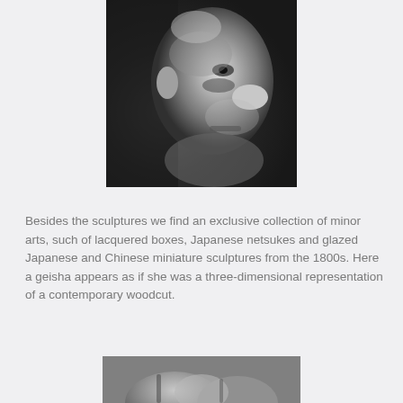[Figure (photo): Black and white photograph of a sculpted face in profile, showing detailed texture of aged stone or metal sculpture, viewed from the side]
Besides the sculptures we find an exclusive collection of minor arts, such of lacquered boxes, Japanese netsukes and glazed Japanese and Chinese miniature sculptures from the 1800s. Here a geisha appears as if she was a three-dimensional representation of a contemporary woodcut.
[Figure (photo): Partial black and white photograph of another sculpture, partially visible at the bottom of the page]